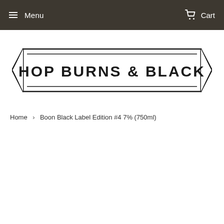Menu  Cart
[Figure (logo): Hop Burns & Black logo — banner/ribbon style with the text HOP BURNS & BLACK in bold capital letters inside a pointed ribbon shape, black outline on white background]
Home › Boon Black Label Edition #4 7% (750ml)